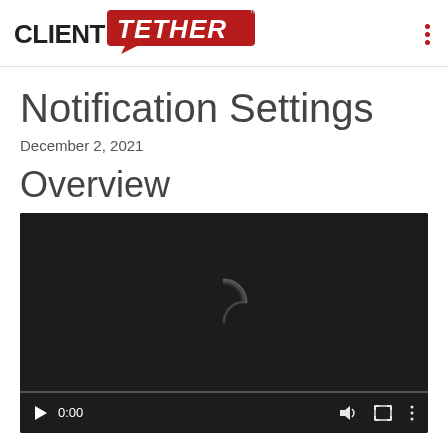CLIENT TETHER™
Notification Settings
December 2, 2021
Overview
[Figure (screenshot): Embedded video player showing a loading spinner on a dark background, with video controls bar at the bottom showing play button, time '0:00', volume icon, fullscreen icon, and menu icon. A red progress bar scrubber is visible.]